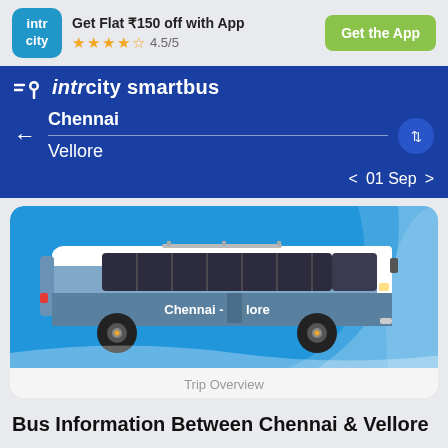[Figure (screenshot): IntrCity app logo - blue rounded square with 'intr city' text in white]
Get Flat ₹150 off with App
★★★★½ 4.5/5
Get the App
[Figure (logo): IntrCity SmartBus logo with location pin icon and speed lines]
Chennai
Vellore
< 01 Sep >
[Figure (illustration): Blue and white intercity bus illustration with text 'Chennai - Vellore' on the side, on a blue background]
Trip Overview
Bus Information Between Chennai & Vellore